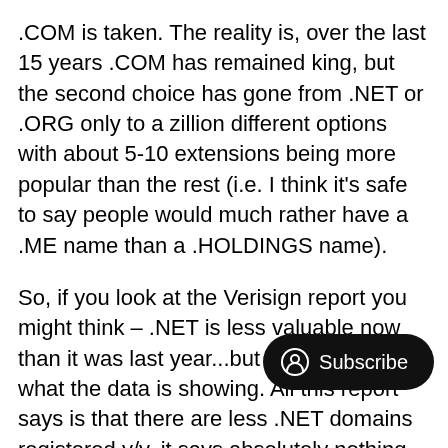.COM is taken. The reality is, over the last 15 years .COM has remained king, but the second choice has gone from .NET or .ORG only to a zillion different options with about 5-10 extensions being more popular than the rest (i.e. I think it's safe to say people would much rather have a .ME name than a .HOLDINGS name).
So, if you look at the Verisign report you might think – .NET is less valuable now than it was last year...but that's not at all what the data is showing. All this report says is that there are less .NET domains registered y/y, it says absolutely nothing about the value of .NET.
I think what's happening with .NET is the same thing that is happening with all the other .COM